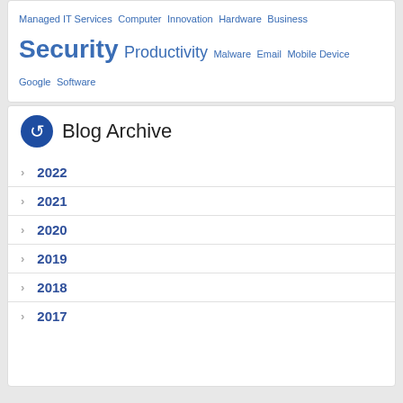Managed IT Services Computer Innovation Hardware Business Security Productivity Malware Email Mobile Device Google Software
Blog Archive
2022
2021
2020
2019
2018
2017